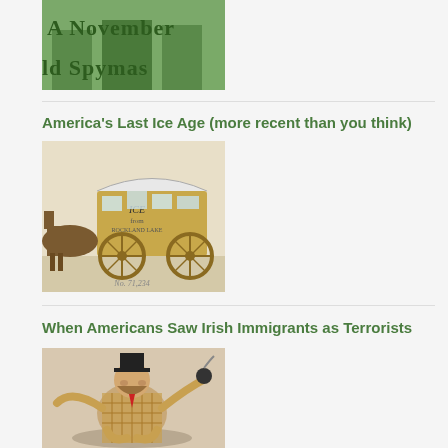[Figure (illustration): Partial top image showing text 'A November' and 'ld Spymas' in green/dark lettering on a historical illustration background]
[Figure (illustration): Historical illustration of a horse-drawn ice wagon labeled 'ICE from ROCKLAND LAKE' with large wooden wheels]
America's Last Ice Age (more recent than you think)
[Figure (illustration): Political cartoon or illustration of an Irish immigrant caricature figure sitting cross-legged holding a bomb, dressed in a top hat and checkered clothing]
When Americans Saw Irish Immigrants as Terrorists